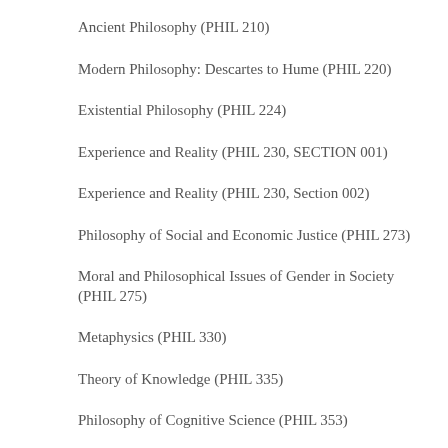Ancient Philosophy (PHIL 210)
Modern Philosophy: Descartes to Hume (PHIL 220)
Existential Philosophy (PHIL 224)
Experience and Reality (PHIL 230, SECTION 001)
Experience and Reality (PHIL 230, Section 002)
Philosophy of Social and Economic Justice (PHIL 273)
Moral and Philosophical Issues of Gender in Society (PHIL 275)
Metaphysics (PHIL 330)
Theory of Knowledge (PHIL 335)
Philosophy of Cognitive Science (PHIL 353)
Contemporary Ethical Theory–Honors (PHIL 362H)